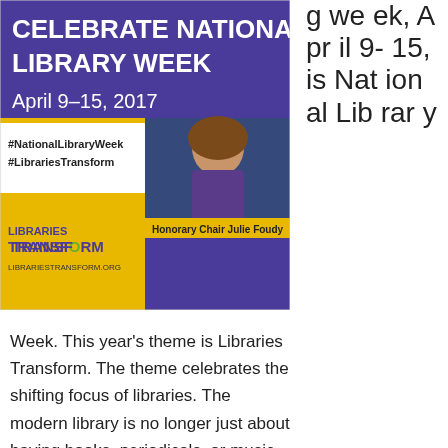[Figure (illustration): National Library Week promotional banner. Purple background with 'CELEBRATE NATIONAL LIBRARY WEEK April 9-15, 2017' in large white text. Below: hashtags #NationalLibraryWeek #LibrariesTransform on white background. Right side: photo of Honorary Chair Julie Foudy (woman smiling, brown hair). Bottom left: yellow panel with 'LIBRARIES TRANSFORM LIBRARIESTRANSFORM.ORG'. Gold/yellow strip separating sections.]
week, April 9-15, is National Library Week.
Week. This year's theme is Libraries Transform. The theme celebrates the shifting focus of libraries. The modern library is no longer just about having books, periodicals, or music music available for patrons; modern libraries are